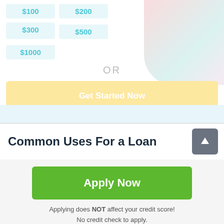[Figure (screenshot): Loan amount selection buttons showing $100, $200, $300, $500, $1000 with a woman holding gifts in background]
OR
Get Started Now
Common Uses For a Loan
[Figure (other): Scroll to top button with upward arrow]
Apply Now
Applying does NOT affect your credit score!
No credit check to apply.